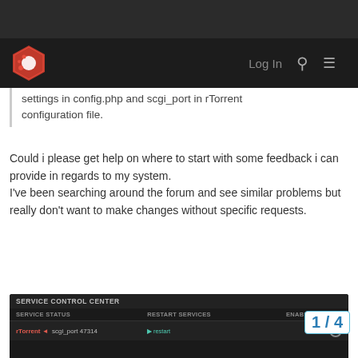SERVICE CONTROL CENTER — navigation bar with logo and Log In link
settings in config.php and scgi_port in rTorrent configuration file.
Could i please get help on where to start with some feedback i can provide in regards to my system.
I've been searching around the forum and see similar problems but really don't want to make changes without specific requests.
[Figure (screenshot): SERVICE CONTROL CENTER panel showing SERVICE STATUS, RESTART SERVICES, ENABLE/DISABLE columns. Row shows rTorrent with scgi_port 47314, Restart button, and Enabled toggle.]
Linux trilton.net 4.13.0-36-generic #49~16.04.1-Ubuntu SMP Fri Feb 16 23:25:58 UTC 2018
1 / 4